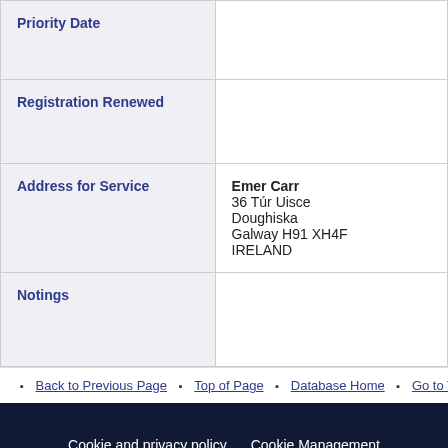| Field | Value |
| --- | --- |
| Priority Date |  |
| Registration Renewed |  |
| Address for Service | Emer Carr
36 Túr Uisce
Doughiska
Galway H91 XH4F
IRELAND |
| Notings |  |
Back to Previous Page
Top of Page
Database Home
Go to Trade M...
Cookie and privacy policy  Cookie Management  Disclaimer  Sitemap  Contact Us